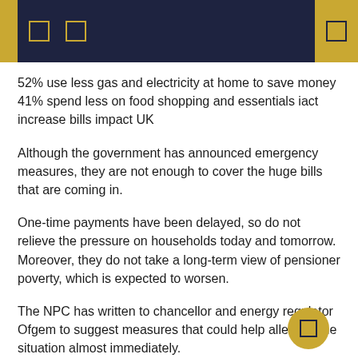52% use less gas and electricity at home to save money 41% spend less on food shopping and essentials iact increase bills impact UK
Although the government has announced emergency measures, they are not enough to cover the huge bills that are coming in.
One-time payments have been delayed, so do not relieve the pressure on households today and tomorrow. Moreover, they do not take a long-term view of pensioner poverty, which is expected to worsen.
The NPC has written to chancellor and energy regulator Ofgem to suggest measures that could help alleviate the situation almost immediately.